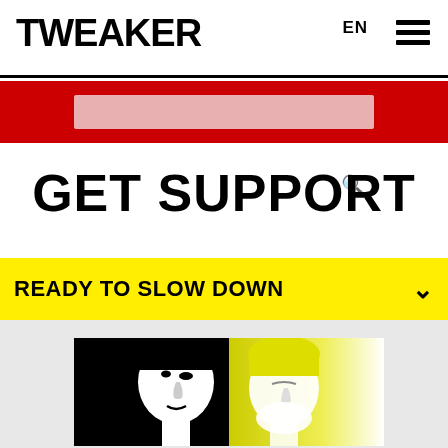TWEAKER
EN
[Figure (screenshot): Red search bar with a pink/rose input field and a search magnifier icon on the right]
GET SUPPORT
READY TO SLOW DOWN
[Figure (illustration): Black, white and yellow graphic illustration of two human faces in profile, one looking forward and one with eyes closed, on a black and yellow background]